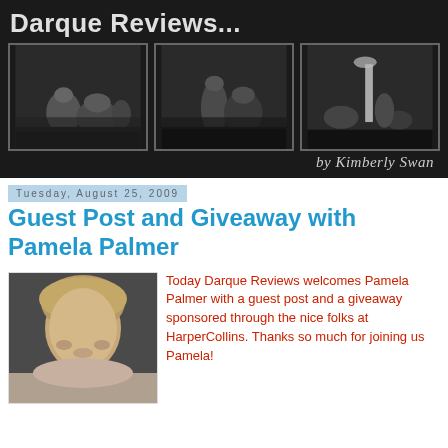[Figure (photo): Darque Reviews blog header banner with title 'Darque Reviews...' in white text on black background, three black and white cemetery/graveyard photos side by side, and 'by Kimberly Swan' in italic script at bottom right]
Tuesday, August 25, 2009
Guest Post and Giveaway with Pamela Palmer
[Figure (photo): Headshot photo of Pamela Palmer, a woman with shoulder-length wavy blonde/light brown hair, against a dark gray background]
Today Darque Reviews welcomes Pamela Palmer with a guest post and a giveaway sponsored through the nice folks at HarperCollins. Thanks so much for joining us Pamela!